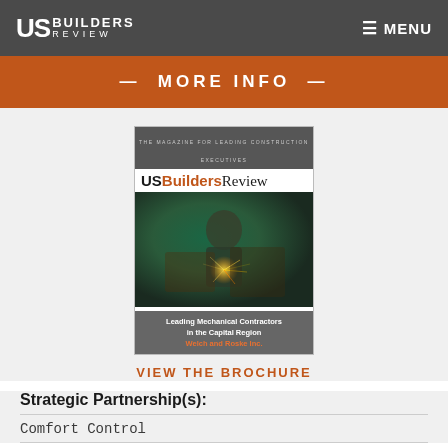US BUILDERS REVIEW  MENU
— MORE INFO —
[Figure (photo): US Builders Review magazine cover showing a welder with sparks, titled 'Leading Mechanical Contractors in the Capital Region, Welch and Roske Inc.']
VIEW THE BROCHURE
Strategic Partnership(s):
Comfort Control